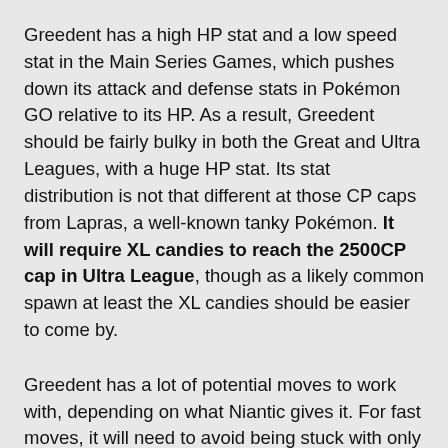Greedent has a high HP stat and a low speed stat in the Main Series Games, which pushes down its attack and defense stats in Pokémon GO relative to its HP. As a result, Greedent should be fairly bulky in both the Great and Ultra Leagues, with a huge HP stat. Its stat distribution is not that different at those CP caps from Lapras, a well-known tanky Pokémon. It will require XL candies to reach the 2500CP cap in Ultra League, though as a likely common spawn at least the XL candies should be easier to come by.
Greedent has a lot of potential moves to work with, depending on what Niantic gives it. For fast moves, it will need to avoid being stuck with only Tackle, Bite, Iron Tail, or Elemental Fangs in order to have a good chance at meta relevance. One of Counter, Bullet Seed, or Mud Shot would